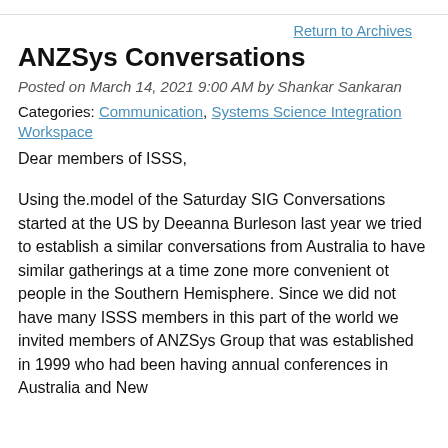Return to Archives
ANZSys Conversations
Posted on March 14, 2021 9:00 AM by Shankar Sankaran
Categories: Communication, Systems Science Integration Workspace
Dear members of ISSS,
Using the.model of the Saturday SIG Conversations started at the US by Deeanna Burleson last year we tried to establish a similar conversations from Australia to have similar gatherings at a time zone more convenient ot people in the Southern Hemisphere. Since we did not have many ISSS members in this part of the world we invited members of ANZSys Group that was established in 1999 who had been having annual conferences in Australia and New